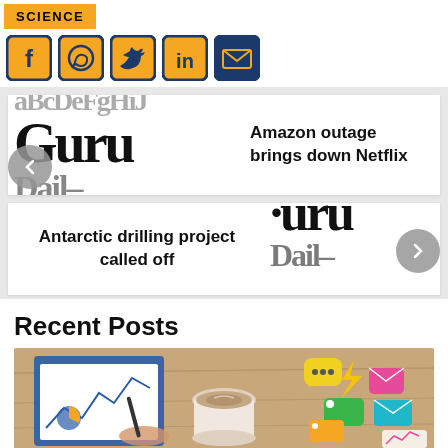SCIENCE
[Figure (infographic): Social media share buttons row: Facebook, WhatsApp, Twitter, LinkedIn, Email]
[Figure (infographic): News carousel showing two partially visible slides. Slide 1: 'Amazon outage brings down Netflix' with Guru Daily logo text. Slide 2: 'Antarctic drilling project called off' with Guru Daily logo text. Navigation arrows on left and right.]
Recent Posts
[Figure (photo): Top-down view of a desk with a person writing on a clipboard with charts, a coffee cup, and colorful communication/social media icons scattered on a wooden surface.]